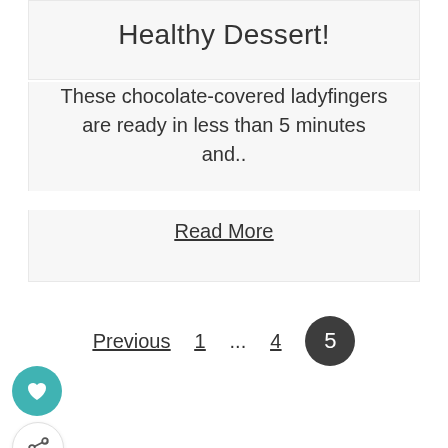Healthy Dessert!
These chocolate-covered ladyfingers are ready in less than 5 minutes and..
Read More
Previous  1  ...  4  5